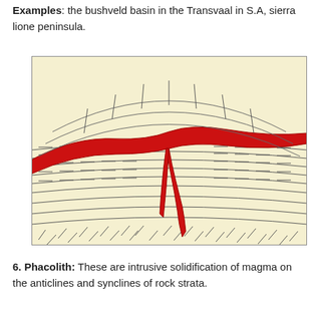Examples: the bushveld basin in the Transvaal in S.A, sierra lione peninsula.
[Figure (illustration): Cross-section geological diagram showing a laccolith intrusion: a lens-shaped red magma body intruding between sedimentary rock layers, with a feeder dyke extending downward, and layered strata visible around it.]
6. Phacolith: These are intrusive solidification of magma on the anticlines and synclines of rock strata.